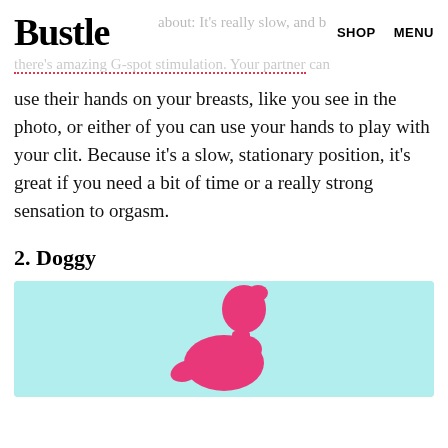Bustle   SHOP   MENU
about: It's really slow, and there's amazing G-spot stimulation. Your partner can use their hands on your breasts, like you see in the photo, or either of you can use your hands to play with your clit. Because it's a slow, stationary position, it's great if you need a bit of time or a really strong sensation to orgasm.
2. Doggy
[Figure (illustration): Illustration of a pink human figure on a light cyan/teal background, showing a person in doggy style position. Only the upper body/head silhouette is visible in this crop.]